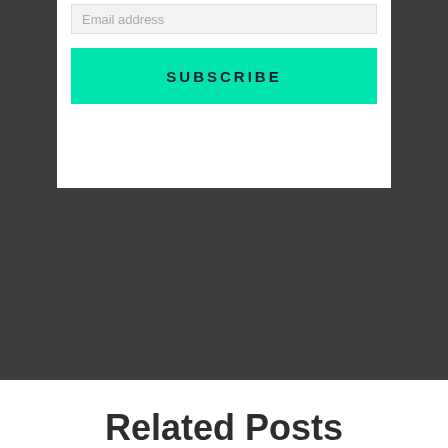Email address
SUBSCRIBE
Related Posts